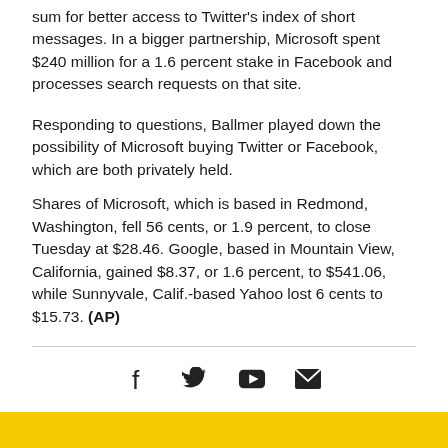sum for better access to Twitter's index of short messages. In a bigger partnership, Microsoft spent $240 million for a 1.6 percent stake in Facebook and processes search requests on that site.
Responding to questions, Ballmer played down the possibility of Microsoft buying Twitter or Facebook, which are both privately held.
Shares of Microsoft, which is based in Redmond, Washington, fell 56 cents, or 1.9 percent, to close Tuesday at $28.46. Google, based in Mountain View, California, gained $8.37, or 1.6 percent, to $541.06, while Sunnyvale, Calif.-based Yahoo lost 6 cents to $15.73. (AP)
[Figure (other): Social media icons: Facebook, Twitter, YouTube, Email]
[Figure (other): Yellow/gold colored bar at bottom of page]